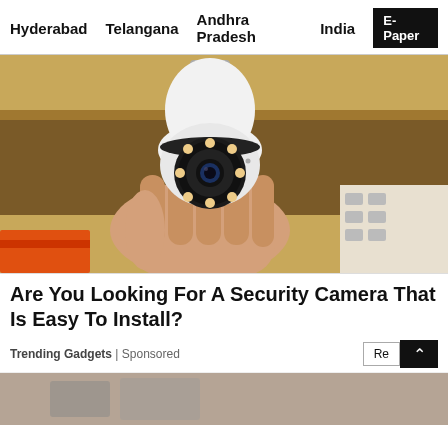Hyderabad   Telangana   Andhra Pradesh   India   E-Paper
[Figure (photo): A hand holding a white bulb-shaped security camera with LED ring and camera lens, screwed into a light bulb base, photographed against a wooden shelf background with packaging boxes.]
Are You Looking For A Security Camera That Is Easy To Install?
Trending Gadgets | Sponsored
[Figure (photo): Partial bottom image showing a cropped photo, content partially visible at bottom edge of page.]